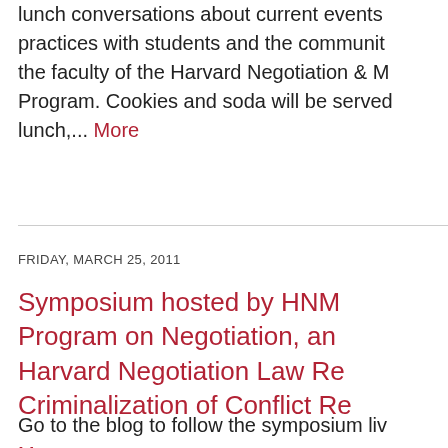lunch conversations about current events practices with students and the community the faculty of the Harvard Negotiation & M Program. Cookies and soda will be served lunch,... More
FRIDAY, MARCH 25, 2011
Symposium hosted by HNM Program on Negotiation, an Harvard Negotiation Law Re Criminalization of Conflict Re
Go to the blog to follow the symposium liv More